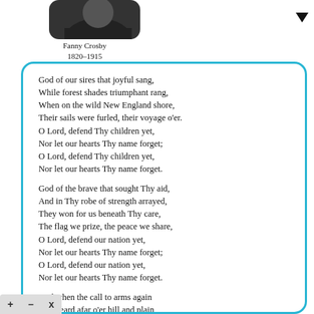[Figure (photo): Black and white portrait photo of Fanny Crosby, cropped at top]
Fanny Crosby
1820–1915
God of our sires that joyful sang,
While forest shades triumphant rang,
When on the wild New England shore,
Their sails were furled, their voyage o'er.
O Lord, defend Thy children yet,
Nor let our hearts Thy name forget;
O Lord, defend Thy children yet,
Nor let our hearts Thy name forget.

God of the brave that sought Thy aid,
And in Thy robe of strength arrayed,
They won for us beneath Thy care,
The flag we prize, the peace we share,
O Lord, defend our nation yet,
Nor let our hearts Thy name forget;
O Lord, defend our nation yet,
Nor let our hearts Thy name forget.

And when the call to arms again
Was heard afar o'er hill and plain